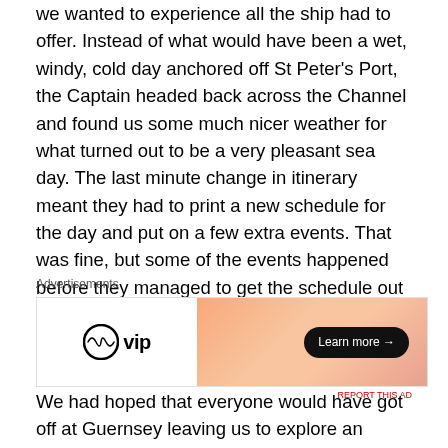we wanted to experience all the ship had to offer. Instead of what would have been a wet, windy, cold day anchored off St Peter's Port, the Captain headed back across the Channel and found us some much nicer weather for what turned out to be a very pleasant sea day. The last minute change in itinerary meant they had to print a new schedule for the day and put on a few extra events. That was fine, but some of the events happened before they managed to get the schedule out and some things in it were still wrong! It was good that they tried though and had a contingency plan in place.
[Figure (other): WordPress VIP advertisement banner with orange/peach gradient background, WordPress logo on the left, and a 'Learn more →' button on the right.]
We had hoped that everyone would have got off at Guernsey leaving us to explore an empty ship, so we were